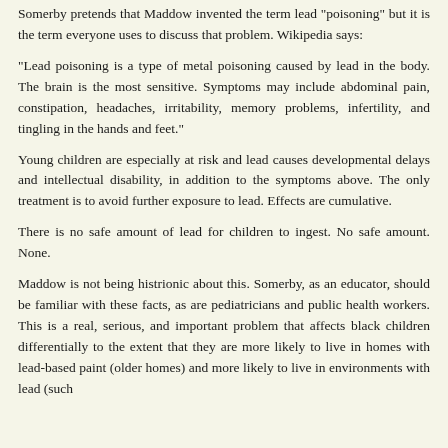Somerby pretends that Maddow invented the term lead "poisoning" but it is the term everyone uses to discuss that problem. Wikipedia says:
"Lead poisoning is a type of metal poisoning caused by lead in the body. The brain is the most sensitive. Symptoms may include abdominal pain, constipation, headaches, irritability, memory problems, infertility, and tingling in the hands and feet."
Young children are especially at risk and lead causes developmental delays and intellectual disability, in addition to the symptoms above. The only treatment is to avoid further exposure to lead. Effects are cumulative.
There is no safe amount of lead for children to ingest. No safe amount. None.
Maddow is not being histrionic about this. Somerby, as an educator, should be familiar with these facts, as are pediatricians and public health workers. This is a real, serious, and important problem that affects black children differentially to the extent that they are more likely to live in homes with lead-based paint (older homes) and more likely to live in environments with lead (such